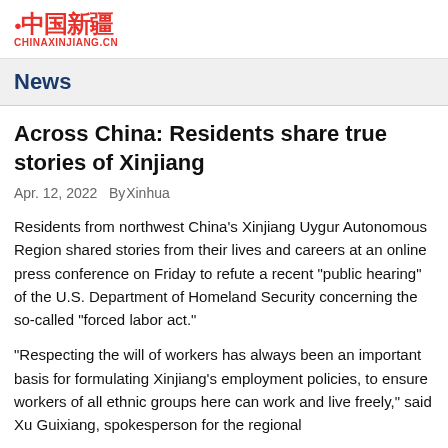中国新疆 CHINAXINJIANG.CN
News
Across China: Residents share true stories of Xinjiang
Apr. 12, 2022  By Xinhua
Residents from northwest China's Xinjiang Uygur Autonomous Region shared stories from their lives and careers at an online press conference on Friday to refute a recent "public hearing" of the U.S. Department of Homeland Security concerning the so-called "forced labor act."
"Respecting the will of workers has always been an important basis for formulating Xinjiang's employment policies, to ensure workers of all ethnic groups here can work and live freely," said Xu Guixiang, spokesperson for the regional